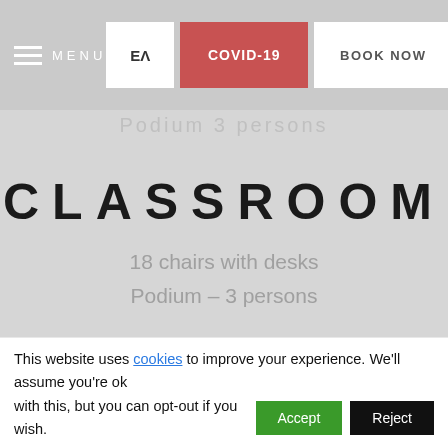MENU | EA | COVID-19 | BOOK NOW
CLASSROOM
18 chairs with desks
Podium – 3 persons
Main Conference room
[Figure (photo): Two conference room interior photos showing golden ceiling lighting]
This website uses cookies to improve your experience. We'll assume you're ok with this, but you can opt-out if you wish. Accept Reject